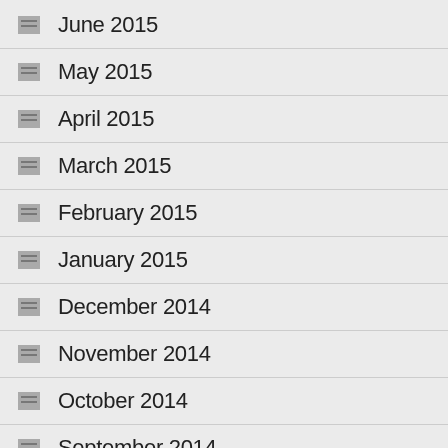June 2015
May 2015
April 2015
March 2015
February 2015
January 2015
December 2014
November 2014
October 2014
September 2014